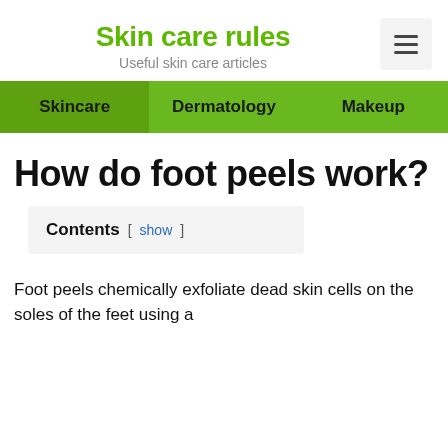Skin care rules – Useful skin care articles
Skincare   Dermatology   Makeup
How do foot peels work?
Contents [ show ]
Foot peels chemically exfoliate dead skin cells on the soles of the feet using a